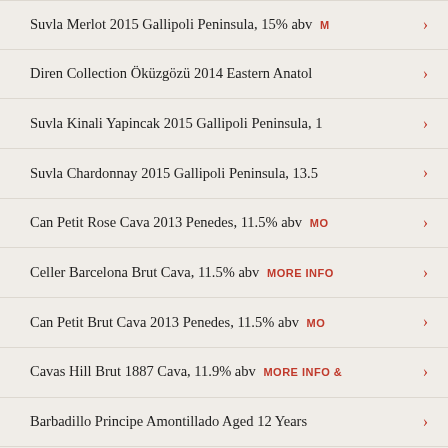Suvla Merlot 2015 Gallipoli Peninsula, 15% abv M
Diren Collection Öküzgözü 2014 Eastern Anatol
Suvla Kinali Yapincak 2015 Gallipoli Peninsula, 1
Suvla Chardonnay 2015 Gallipoli Peninsula, 13.5
Can Petit Rose Cava 2013 Penedes, 11.5% abv Mo
Celler Barcelona Brut Cava, 11.5% abv MORE INFO
Can Petit Brut Cava 2013 Penedes, 11.5% abv Mo
Cavas Hill Brut 1887 Cava, 11.9% abv MORE INFO &
Barbadillo Principe Amontillado Aged 12 Years